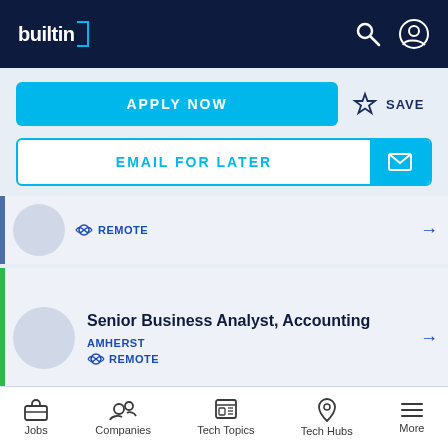builtin
APPLY NOW
SAVE
EMAIL FOR LATER
REMOTE
Senior Business Analyst, Accounting
AMHERST
REMOTE
Jobs  Companies  Tech Topics  Tech Hubs  More